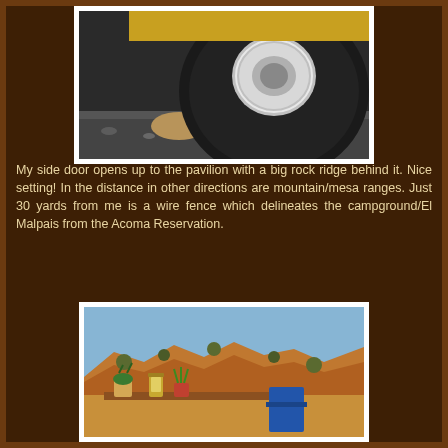[Figure (photo): Close-up photo of a large vehicle tire resting on rocks/stones on a gravel surface, with chrome wheel visible]
My side door opens up to the pavilion with a big rock ridge behind it. Nice setting! In the distance in other directions are mountain/mesa ranges. Just 30 yards from me is a wire fence which delineates the campground/El Malpais from the Acoma Reservation.
[Figure (photo): Outdoor desert camping scene with plants, lanterns, and other items on a table with a rocky ridge and desert landscape in the background under blue sky]